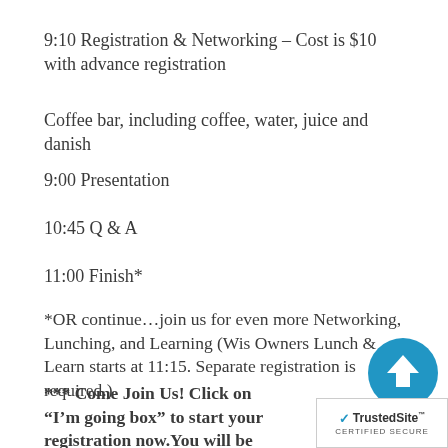9:10 Registration & Networking – Cost is $10 with advance registration
Coffee bar, including coffee, water, juice and danish
9:00 Presentation
10:45 Q & A
11:00 Finish*
*OR continue…join us for even more Networking, Lunching, and Learning (Wis Owners Lunch & Learn starts at 11:15. Separate registration is required.)
*** Come Join Us! Click on “I’m going box” to start your registration now.You will be able to reserve your seat and won’t be charged until the day of the
[Figure (logo): TrustedSite Certified Secure badge with blue upload arrow icon]